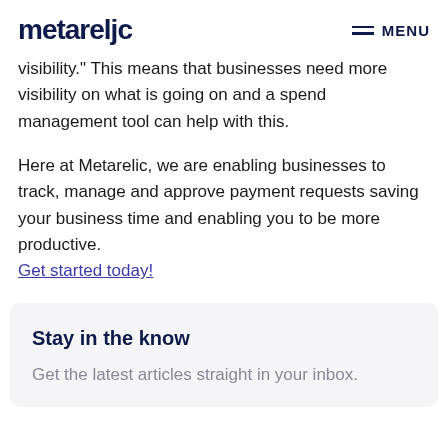metareljc  MENU
visibility." This means that businesses need more visibility on what is going on and a spend management tool can help with this.
Here at Metarelic, we are enabling businesses to track, manage and approve payment requests saving your business time and enabling you to be more productive. Get started today!
Stay in the know
Get the latest articles straight in your inbox.